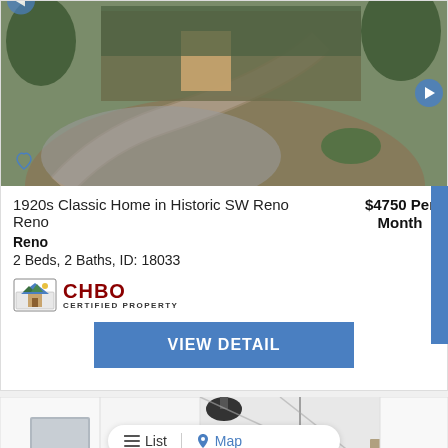[Figure (photo): Exterior photo of a classic home with ivy-covered facade, curved stone driveway, and landscaping with gravel and shrubs. Navigation arrows on left and right, heart/favorite icon at bottom left.]
1920s Classic Home in Historic SW Reno Reno
$4750 Per Month
Reno
2 Beds, 2 Baths, ID: 18033
[Figure (logo): CHBO Certified Property logo with mountain/house icon]
VIEW DETAIL
[Figure (photo): Interior photo of a modern kitchen with white cabinets, stainless steel appliances, and pendant lighting. List/Map toggle bar overlaid at top.]